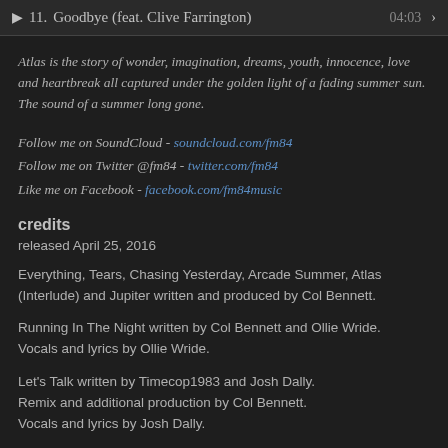▶  11.  Goodbye (feat. Clive Farrington)  04:03  ›
Atlas is the story of wonder, imagination, dreams, youth, innocence, love and heartbreak all captured under the golden light of a fading summer sun. The sound of a summer long gone.
Follow me on SoundCloud - soundcloud.com/fm84
Follow me on Twitter @fm84 - twitter.com/fm84
Like me on Facebook - facebook.com/fm84music
credits
released April 25, 2016
Everything, Tears, Chasing Yesterday, Arcade Summer, Atlas (Interlude) and Jupiter written and produced by Col Bennett.
Running In The Night written by Col Bennett and Ollie Wride.
Vocals and lyrics by Ollie Wride.
Let's Talk written by Timecop1983 and Josh Dally.
Remix and additional production by Col Bennett.
Vocals and lyrics by Josh Dally.